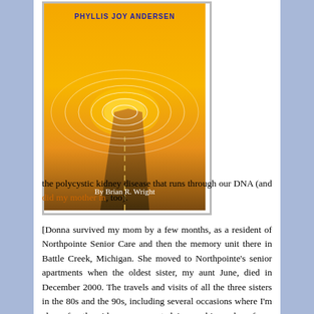[Figure (illustration): Book cover image showing a road leading into a sunset with concentric circular rings overlaid. Text reads 'Phyllis Joy Andersen' at top in blue and 'By Brian R. Wright' at bottom in white, on an orange/golden sky background.]
the polycystic kidney disease that runs through our DNA (and did my mother in, too).
[Donna survived my mom by a few months, as a resident of Northpointe Senior Care and then the memory unit there in Battle Creek, Michigan. She moved to Northpointe's senior apartments when the oldest sister, my aunt June, died in December 2000. The travels and visits of all the three sisters in the 80s and the 90s, including several occasions where I'm along for the ride, are recounted in my biography of my mom: Mother's Stone. I miss you deeply, too, dear aunt. Dear aunts. Dear